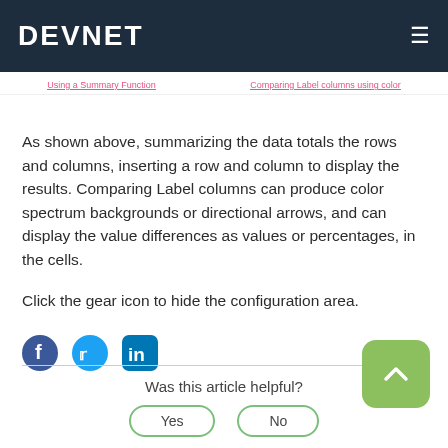DEVNET
Using a Summary Function
Comparing Label columns using color
As shown above, summarizing the data totals the rows and columns, inserting a row and column to display the results. Comparing Label columns can produce color spectrum backgrounds or directional arrows, and can display the value differences as values or percentages, in the cells.
Click the gear icon to hide the configuration area.
[Figure (illustration): Social media icons: Facebook, Twitter, LinkedIn]
Was this article helpful?
Yes
No